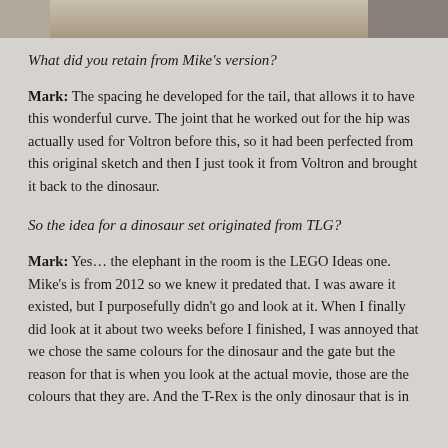[Figure (photo): Partial photo strip visible at the top of the page, showing a cropped image.]
What did you retain from Mike's version?
Mark: The spacing he developed for the tail, that allows it to have this wonderful curve. The joint that he worked out for the hip was actually used for Voltron before this, so it had been perfected from this original sketch and then I just took it from Voltron and brought it back to the dinosaur.
So the idea for a dinosaur set originated from TLG?
Mark: Yes… the elephant in the room is the LEGO Ideas one. Mike's is from 2012 so we knew it predated that. I was aware it existed, but I purposefully didn't go and look at it. When I finally did look at it about two weeks before I finished, I was annoyed that we chose the same colours for the dinosaur and the gate but the reason for that is when you look at the actual movie, those are the colours that they are. And the T-Rex is the only dinosaur that is in